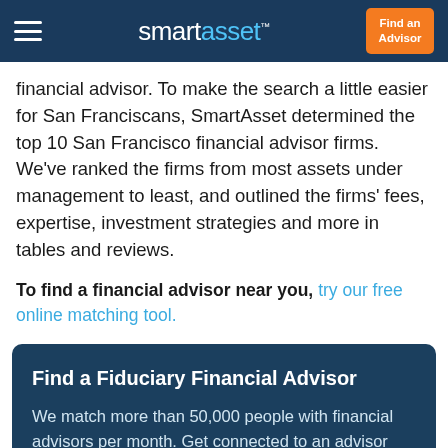smartasset™  |  Find an Advisor
financial advisor. To make the search a little easier for San Franciscans, SmartAsset determined the top 10 San Francisco financial advisor firms. We've ranked the firms from most assets under management to least, and outlined the firms' fees, expertise, investment strategies and more in tables and reviews.
To find a financial advisor near you, try our free online matching tool.
Find a Fiduciary Financial Advisor
We match more than 50,000 people with financial advisors per month. Get connected to an advisor that serves your area today.